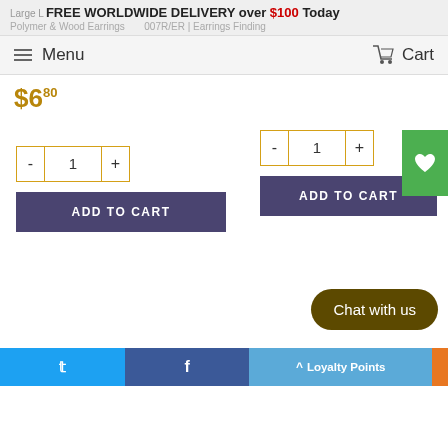FREE WORLDWIDE DELIVERY over $100 Today
Large L... Polymer & Wood Earrings... 007R/ER | Earrings Finding...
Menu  Cart
$6.80
[Figure (screenshot): Two product quantity selectors with minus/plus buttons and value 1, each with an ADD TO CART button in dark purple. A green wishlist heart button on the right. A dark olive Chat with us bubble. Bottom social bar with Twitter, Facebook, Loyalty Points, and orange strip.]